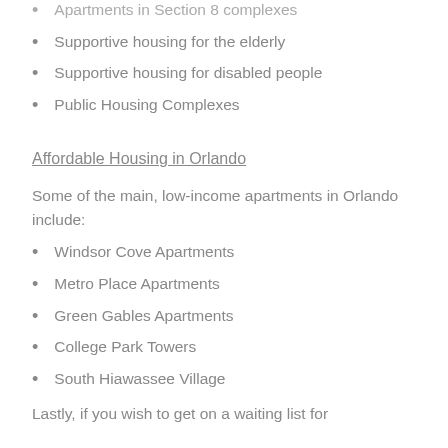Apartments in Section 8 complexes
Supportive housing for the elderly
Supportive housing for disabled people
Public Housing Complexes
Affordable Housing in Orlando
Some of the main, low-income apartments in Orlando include:
Windsor Cove Apartments
Metro Place Apartments
Green Gables Apartments
College Park Towers
South Hiawassee Village
Lastly, if you wish to get on a waiting list for